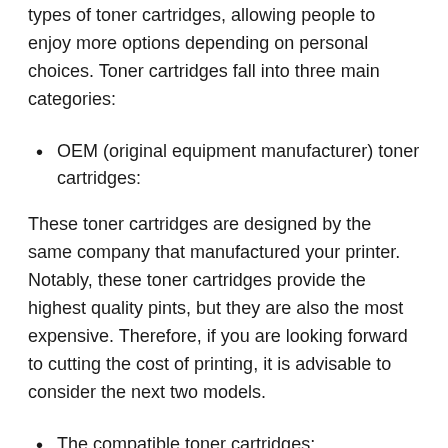types of toner cartridges, allowing people to enjoy more options depending on personal choices. Toner cartridges fall into three main categories:
OEM (original equipment manufacturer) toner cartridges:
These toner cartridges are designed by the same company that manufactured your printer. Notably, these toner cartridges provide the highest quality pints, but they are also the most expensive. Therefore, if you are looking forward to cutting the cost of printing, it is advisable to consider the next two models.
The compatible toner cartridges:
This is another category of high-quality toner cartridges in the market. Unlike the OEM models, compatible/ generic toners are made by third parties.